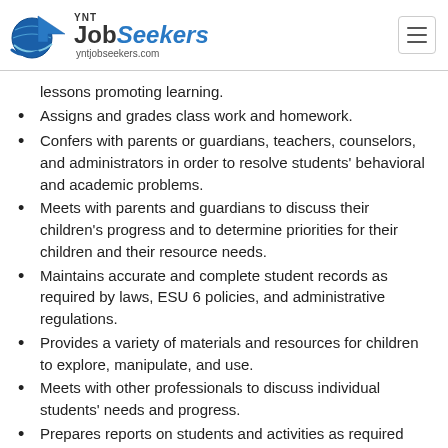YNT JobSeekers — yntjobseekers.com
lessons promoting learning.
Assigns and grades class work and homework.
Confers with parents or guardians, teachers, counselors, and administrators in order to resolve students' behavioral and academic problems.
Meets with parents and guardians to discuss their children's progress and to determine priorities for their children and their resource needs.
Maintains accurate and complete student records as required by laws, ESU 6 policies, and administrative regulations.
Provides a variety of materials and resources for children to explore, manipulate, and use.
Meets with other professionals to discuss individual students' needs and progress.
Prepares reports on students and activities as required